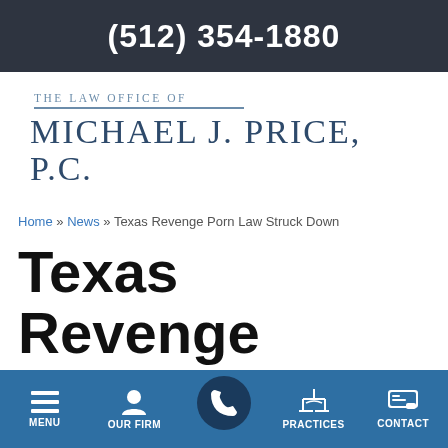(512) 354-1880
[Figure (logo): The Law Office of Michael J. Price, P.C. logo with blue text and horizontal rule]
Home » News » Texas Revenge Porn Law Struck Down
Texas Revenge Porn Law Struck Down
MENU  OUR FIRM  [call button]  PRACTICES  CONTACT